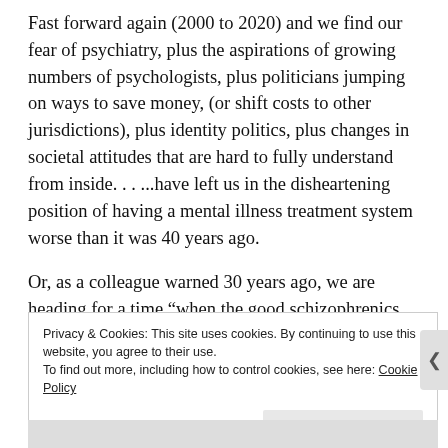Fast forward again (2000 to 2020) and we find our fear of psychiatry, plus the aspirations of growing numbers of psychologists, plus politicians jumping on ways to save money, (or shift costs to other jurisdictions), plus identity politics, plus changes in societal attitudes that are hard to fully understand from inside. . . ...have left us in the disheartening position of having a mental illness treatment system worse than it was 40 years ago.
Or, as a colleague warned 30 years ago, we are heading for a time “when the good schizophrenics will get good treatment and the bad ones get none”. By that he meant, if I must translate his words into today’s reality, people with
Privacy & Cookies: This site uses cookies. By continuing to use this website, you agree to their use.
To find out more, including how to control cookies, see here: Cookie Policy